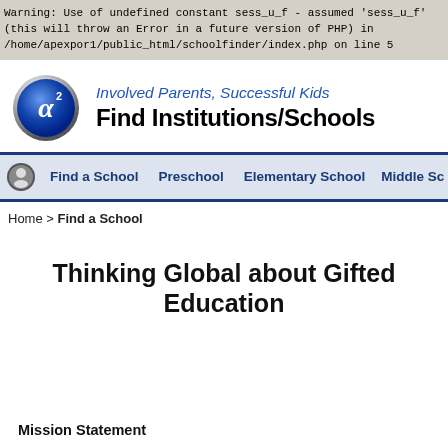Warning: Use of undefined constant sess_u_f - assumed 'sess_u_f' (this will throw an Error in a future version of PHP) in /home/apexpor1/public_html/schoolfinder/index.php on line 5
[Figure (logo): Blue circular logo with alpha squared symbol]
Involved Parents, Successful Kids
Find Institutions/Schools
Find a School   Preschool   Elementary School   Middle Sc...
Home > Find a School
Thinking Global about Gifted Education
Mission Statement